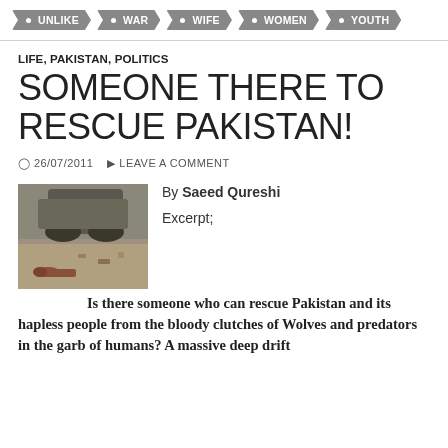UNLIKE  WAR  WIFE  WOMEN  YOUTH
LIFE, PAKISTAN, POLITICS
SOMEONE THERE TO RESCUE PAKISTAN!
26/07/2011   LEAVE A COMMENT
[Figure (photo): A scene showing a vehicle and bodies on the ground, likely conflict-related imagery from Pakistan.]
By Saeed Qureshi

Excerpt;

Is there someone who can rescue Pakistan and its hapless people from the bloody clutches of Wolves and predators in the garb of humans? A massive deep drift